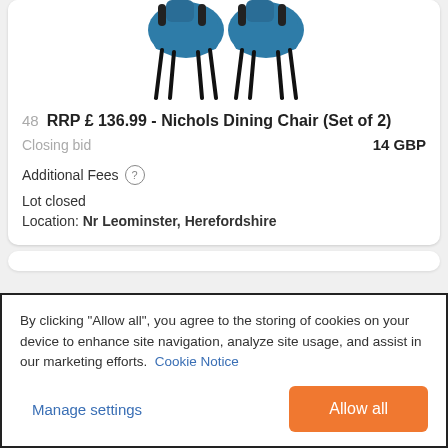[Figure (photo): Product photo of two teal/blue dining chairs with black metal legs, partially cropped at top]
48  RRP £ 136.99 - Nichols Dining Chair (Set of 2)
Closing bid  14 GBP
Additional Fees (?)
Lot closed
Location: Nr Leominster, Herefordshire
By clicking "Allow all", you agree to the storing of cookies on your device to enhance site navigation, analyze site usage, and assist in our marketing efforts.  Cookie Notice
Manage settings
Allow all